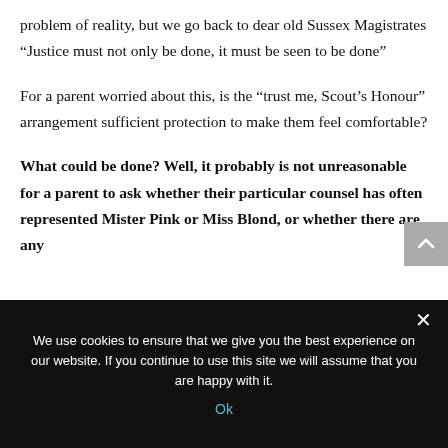problem of reality, but we go back to dear old Sussex Magistrates “Justice must not only be done, it must be seen to be done”
For a parent worried about this, is the “trust me, Scout’s Honour” arrangement sufficient protection to make them feel comfortable?
What could be done? Well, it probably is not unreasonable for a parent to ask whether their particular counsel has often represented Mister Pink or Miss Blond, or whether there are any
We use cookies to ensure that we give you the best experience on our website. If you continue to use this site we will assume that you are happy with it.
Ok